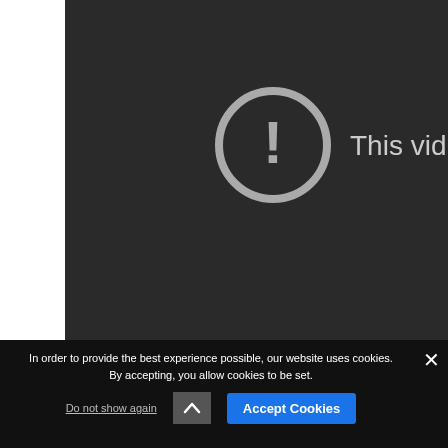[Figure (screenshot): Dark video player area showing an error state with a circular exclamation mark icon and partial text 'This vid' indicating the video is unavailable.]
This vid
In order to provide the best experience possible, our website uses cookies. By accepting, you allow cookies to be set.
Do not show again
Accept Cookies
Date and Time
Wednesday, January 9, 2019
8:00 – 9:00 am (registration and networking from...